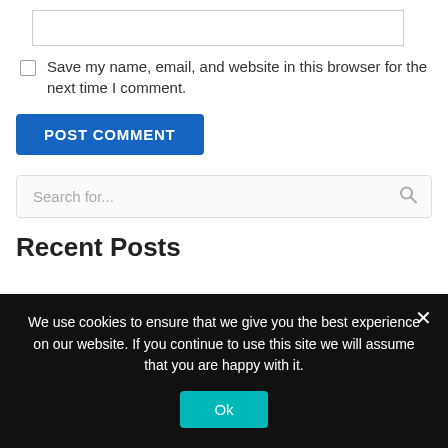[Figure (screenshot): Text input box (empty)]
Save my name, email, and website in this browser for the next time I comment.
POST COMMENT
Search for...
Recent Posts
We use cookies to ensure that we give you the best experience on our website. If you continue to use this site we will assume that you are happy with it.
Ok